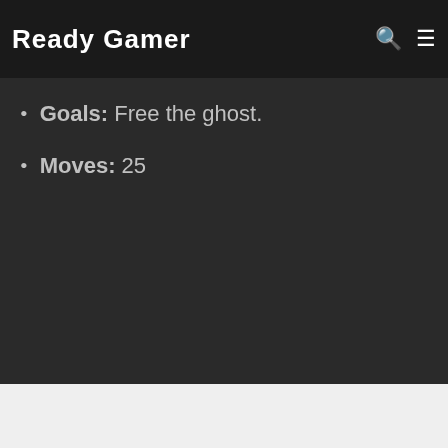Ready Gamer
Goals: Free the ghost.
Moves: 25